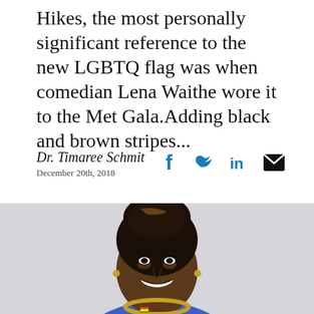Hikes, the most personally significant reference to the new LGBTQ flag was when comedian Lena Waithe wore it to the Met Gala.Adding black and brown stripes...
Dr. Timaree Schmit
December 20th, 2018
[Figure (photo): Portrait photo of Dr. Timaree Schmit, a smiling Black woman with braided hair styled up, wearing a blue sleeveless top and gold necklace, with a small pride flag pin visible on her top, photographed against a light grey background.]